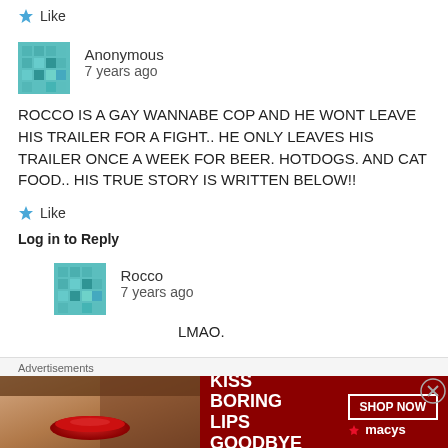Like
Anonymous
7 years ago
ROCCO IS A GAY WANNABE COP AND HE WONT LEAVE HIS TRAILER FOR A FIGHT.. HE ONLY LEAVES HIS TRAILER ONCE A WEEK FOR BEER. HOTDOGS. AND CAT FOOD.. HIS TRUE STORY IS WRITTEN BELOW!!
Like
Log in to Reply
Rocco
7 years ago
LMAO.
Advertisements
[Figure (photo): Macy's advertisement banner: KISS BORING LIPS GOODBYE with SHOP NOW button and Macy's star logo]